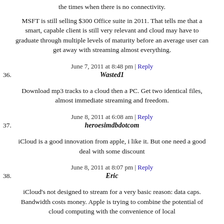the times when there is no connectivity.
MSFT is still selling $300 Office suite in 2011. That tells me that a smart, capable client is still very relevant and cloud may have to graduate through multiple levels of maturity before an average user can get away with streaming almost everything.
June 7, 2011 at 8:48 pm | Reply
36. Wasted1
Download mp3 tracks to a cloud then a PC. Get two identical files, almost immediate streaming and freedom.
June 8, 2011 at 6:08 am | Reply
37. heroesimdbdotcom
iCloud is a good innovation from apple, i like it. But one need a good deal with some discount
June 8, 2011 at 8:07 pm | Reply
38. Eric
iCloud's not designed to stream for a very basic reason: data caps. Bandwidth costs money. Apple is trying to combine the potential of cloud computing with the convenience of local